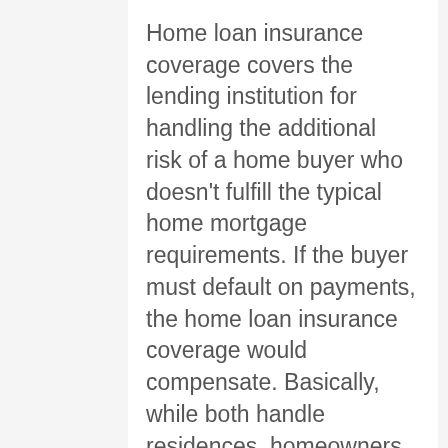Home loan insurance coverage covers the lending institution for handling the additional risk of a home buyer who doesn't fulfill the typical home mortgage requirements. If the buyer must default on payments, the home loan insurance coverage would compensate. Basically, while both handle residences, homeowners insurance coverage protects the homeowner and home loan insurance coverage safeguards the home loan lender.
Property owners insurance offers you with financial security in the occasion of a disaster or mishap